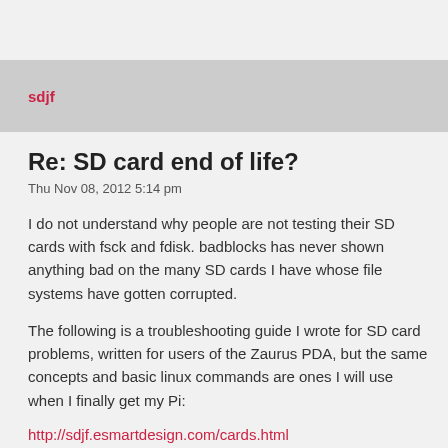sdjf
Re: SD card end of life?
Thu Nov 08, 2012 5:14 pm
I do not understand why people are not testing their SD cards with fsck and fdisk. badblocks has never shown anything bad on the many SD cards I have whose file systems have gotten corrupted.
The following is a troubleshooting guide I wrote for SD card problems, written for users of the Zaurus PDA, but the same concepts and basic linux commands are ones I will use when I finally get my Pi:
http://sdjf.esmartdesign.com/cards.html